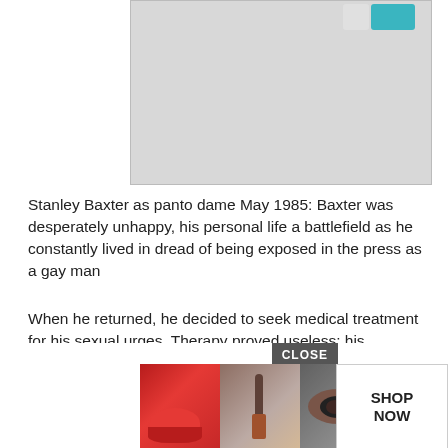[Figure (photo): Photo of Stanley Baxter as panto dame, partially visible, light gray background]
Stanley Baxter as panto dame May 1985: Baxter was desperately unhappy, his personal life a battlefield as he constantly lived in dread of being exposed in the press as a gay man
When he returned, he decided to seek medical treatment for his sexual urges. Therapy proved useless: his psychiatrist, learning that he was married, advised him simply to return to his wife.
Instead, Baxter told Moira he could no longer live with her. In 1970, with The Stanley Baxter Show a huge BBC hit, he moved out of their house and took the apart[ment in] Highga[te that became the centre] of his life. H[e...]
[Figure (advertisement): ULTA beauty advertisement with close-up images of eyes, lips, and makeup brushes, with SHOP NOW button and CLOSE button overlay]